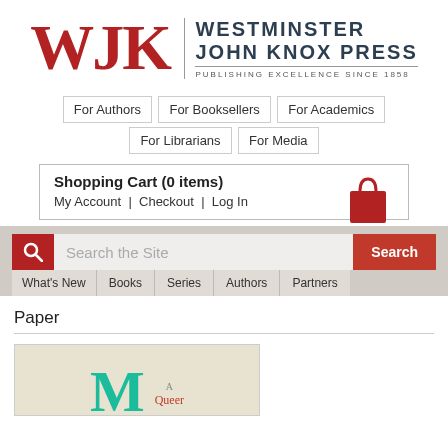[Figure (logo): Westminster John Knox Press logo with red WJK letters and text 'Westminster John Knox Press - Publishing Excellence Since 1858']
For Authors | For Booksellers | For Academics | For Librarians | For Media
Shopping Cart (0 items) My Account | Checkout | Log In
Search the Site | What's New | Books | Series | Authors | Partners
Paper
[Figure (illustration): Book cover showing large teal letter M and text 'A Queer' in red on a tan background]